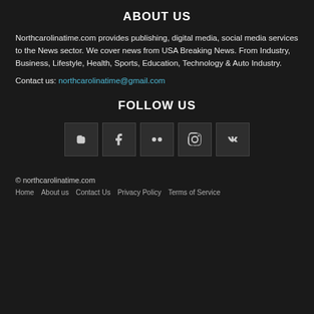ABOUT US
Northcarolinatime.com provides publishing, digital media, social media services to the News sector. We cover news from USA Breaking News. From Industry, Business, Lifestyle, Health, Sports, Education, Technology & Auto Industry.
Contact us: northcarolinatime@gmail.com
FOLLOW US
[Figure (other): Row of five social media icon buttons: Blogger, Facebook, Flickr, Instagram, VK]
© northcarolinatime.com
Home  About us  Contact Us  Privacy Policy  Terms of Service